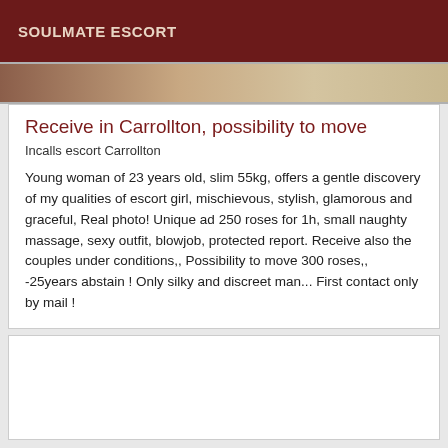SOULMATE ESCORT
[Figure (photo): Partial photo strip showing skin tones and light background]
Receive in Carrollton, possibility to move
Incalls escort Carrollton
Young woman of 23 years old, slim 55kg, offers a gentle discovery of my qualities of escort girl, mischievous, stylish, glamorous and graceful, Real photo! Unique ad 250 roses for 1h, small naughty massage, sexy outfit, blowjob, protected report. Receive also the couples under conditions,, Possibility to move 300 roses,, -25years abstain ! Only silky and discreet man... First contact only by mail !